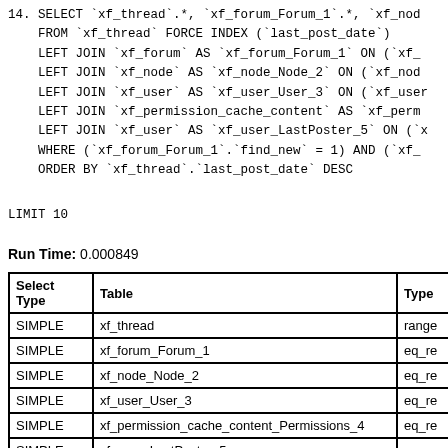14. SELECT `xf_thread`.*, `xf_forum_Forum_1`.*, `xf_nod...
    FROM `xf_thread` FORCE INDEX (`last_post_date`)
    LEFT JOIN `xf_forum` AS `xf_forum_Forum_1` ON (`xf_...
    LEFT JOIN `xf_node` AS `xf_node_Node_2` ON (`xf_nod...
    LEFT JOIN `xf_user` AS `xf_user_User_3` ON (`xf_user...
    LEFT JOIN `xf_permission_cache_content` AS `xf_perm...
    LEFT JOIN `xf_user` AS `xf_user_LastPoster_5` ON (`x...
    WHERE (`xf_forum_Forum_1`.`find_new` = 1) AND (`xf_...
    ORDER BY `xf_thread`.`last_post_date` DESC
LIMIT 10
Run Time: 0.000849
| Select Type | Table | Type |
| --- | --- | --- |
| SIMPLE | xf_thread | range |
| SIMPLE | xf_forum_Forum_1 | eq_re |
| SIMPLE | xf_node_Node_2 | eq_re |
| SIMPLE | xf_user_User_3 | eq_re |
| SIMPLE | xf_permission_cache_content_Permissions_4 | eq_re |
| SIMPLE | xf_user_LastPoster_5 | eq_re |